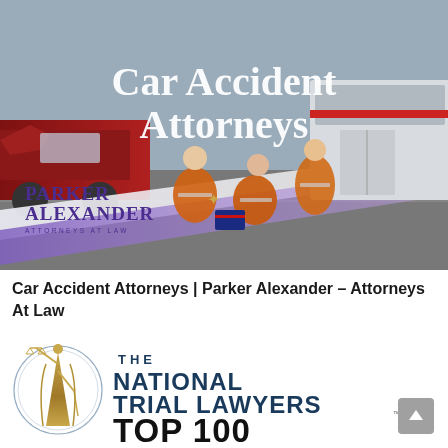[Figure (photo): Hero image showing EMTs/paramedics in orange jackets attending to an accident victim, with a damaged red car visible on the left. Large white text overlay reads 'Car Accident Attorneys'. Parker Alexander Attorneys At Law logo in bottom left corner.]
Car Accident Attorneys | Parker Alexander – Attorneys At Law
[Figure (logo): The National Trial Lawyers TOP 100 logo featuring a gold Lady Justice statue on the left inside a circle, with 'THE NATIONAL TRIAL LAWYERS TOP 100' text in navy blue and black to the right.]